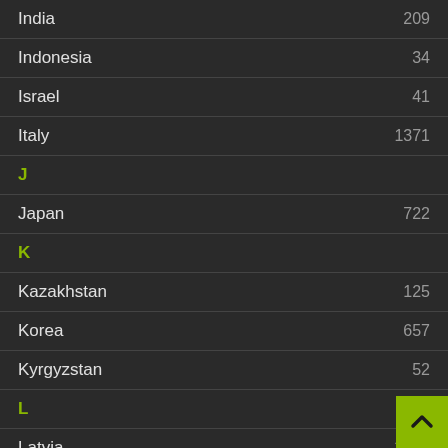India 209
Indonesia 34
Israel 41
Italy 1371
J
Japan 722
K
Kazakhstan 125
Korea 657
Kyrgyzstan 52
L
Latvia 3570
Lebanon 11
Lithuania 160
M
México